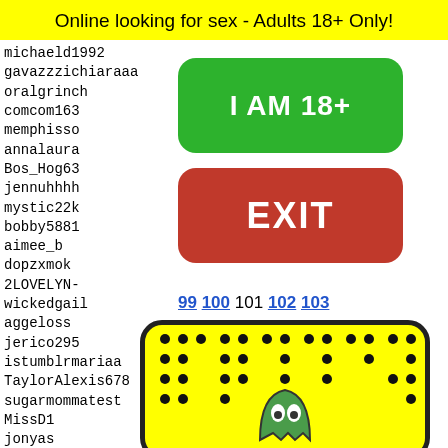Online looking for sex - Adults 18+ Only!
michaeld1992
gavazzzichiaraaa
oralgrinch
comcom163
memphisso
annalaura
Bos_Hog63
jennuhhhh
mystic22k
bobby5881
aimee_b
dopzxmok
2LOVELYN-
wickedgail
aggeloss
jerico295
istumblrmariaa
TaylorAlexis678
sugarmommatest
MissD1
jonyas
soheng
pietro
Leonal
hollyw
I AM 18+
EXIT
99 100 101 102 103
[Figure (illustration): Snapchat-style ghost icon on yellow rounded rectangle background with black dot pattern]